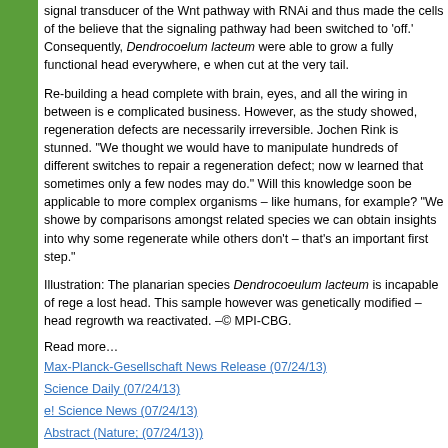signal transducer of the Wnt pathway with RNAi and thus made the cells of the believe that the signaling pathway had been switched to 'off.' Consequently, Dendrocoelum lacteum were able to grow a fully functional head everywhere, e when cut at the very tail.
Re-building a head complete with brain, eyes, and all the wiring in between is e complicated business. However, as the study showed, regeneration defects are necessarily irreversible. Jochen Rink is stunned. "We thought we would have to manipulate hundreds of different switches to repair a regeneration defect; now w learned that sometimes only a few nodes may do." Will this knowledge soon be applicable to more complex organisms – like humans, for example? "We showe by comparisons amongst related species we can obtain insights into why some regenerate while others don't – that's an important first step."
Illustration: The planarian species Dendrocoeulum lacteum is incapable of rege a lost head. This sample however was genetically modified – head regrowth wa reactivated. –© MPI-CBG.
Read more…
Max-Planck-Gesellschaft News Release (07/24/13)
Science Daily (07/24/13)
e! Science News (07/24/13)
Abstract (Nature; (07/24/13))